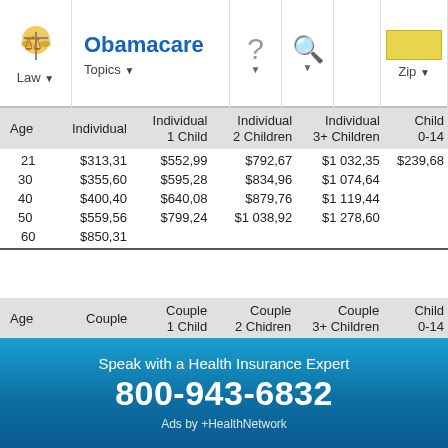Obamacare | Law | Topics | Zip
| Age | Individual | Individual 1 Child | Individual 2 Children | Individual 3+ Children | Child 0-14 |
| --- | --- | --- | --- | --- | --- |
| 21 | $313,31 | $552,99 | $792,67 | $1 032,35 | $239,68 |
| 30 | $355,60 | $595,28 | $834,96 | $1 074,64 |  |
| 40 | $400,40 | $640,08 | $879,76 | $1 119,44 |  |
| 50 | $559,56 | $799,24 | $1 038,92 | $1 278,60 |  |
| 60 | $850,31 |  |  |  |  |
| Age | Couple | Couple 1 Child | Couple 2 Chidren | Couple 3+ Children | Child 0-14 |
| --- | --- | --- | --- | --- | --- |
| 21 | $626,62 | $866,30 | $1 105,98 | $1 345,66 | $239,68 |
| 30 | $711,20 | $950,88 | $1 190,56 | $1 430,24 |  |
| 40 | $800,80 | $1 040,48 | $1 280,16 | $1 519,84 |  |
| 50 | $1 119,12 | $1 358,80 | $1 598,48 | $1 838,16 |  |
| 60 | $1 700,62 |  |  |  |  |
Speak with a Health Insurance Expert
800-943-6832
Ads by +HealthNetwork